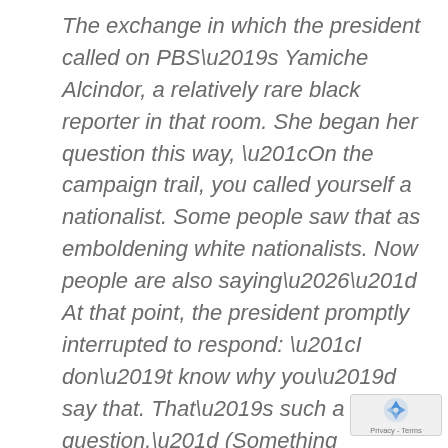The exchange in which the president called on PBS's Yamiche Alcindor, a relatively rare black reporter in that room. She began her question this way, “On the campaign trail, you called yourself a nationalist. Some people saw that as emboldening white nationalists. Now people are also saying…” At that point, the president promptly interrupted to respond: “I don’t know why you’d say that. That’s such a racist question.” (Something he’d then repeat twice more.) The pure chutzpah of that response should have taken anyone’s breath away, but it was also a reminder of the strange sense of freedom Trump feels to say anything in the presence of the media, including mocking and insulting three black female reporters at tha…